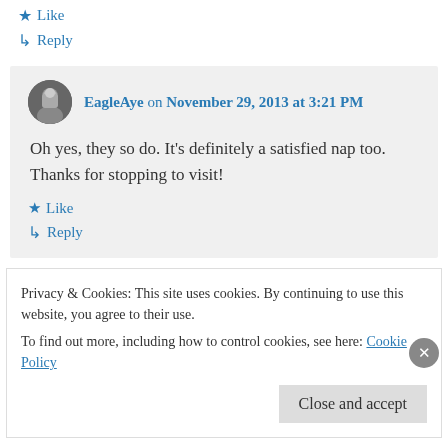★ Like
↳ Reply
EagleAye on November 29, 2013 at 3:21 PM
Oh yes, they so do. It's definitely a satisfied nap too. Thanks for stopping to visit!
★ Like
↳ Reply
Privacy & Cookies: This site uses cookies. By continuing to use this website, you agree to their use.
To find out more, including how to control cookies, see here: Cookie Policy
Close and accept